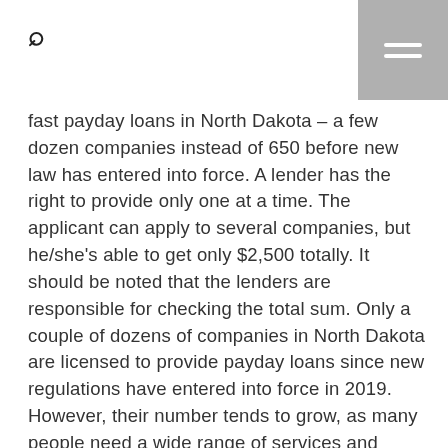[search icon] [menu icon]
fast payday loans in North Dakota – a few dozen companies instead of 650 before new law has entered into force. A lender has the right to provide only one at a time. The applicant can apply to several companies, but he/she's able to get only $2,500 totally. It should be noted that the lenders are responsible for checking the total sum. Only a couple of dozens of companies in North Dakota are licensed to provide payday loans since new regulations have entered into force in 2019. However, their number tends to grow, as many people need a wide range of services and goods to have a decent life.
The other fees depend on the lender, usually $5-$10. Still, North Dakota Payday loan offers usually range from $100 to $1,000. If you need more – apply for $1,000 – $5,000 Installment Loan or $5,000 – $35,000 Personal loan. It won't